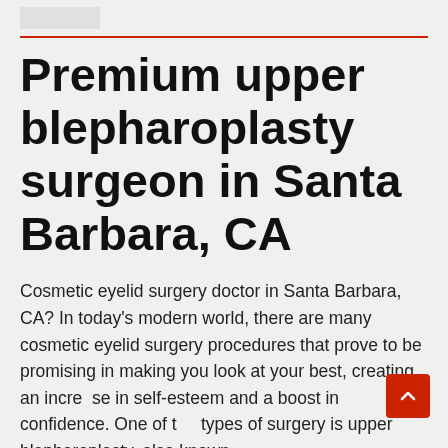Premium upper blepharoplasty surgeon in Santa Barbara, CA
Cosmetic eyelid surgery doctor in Santa Barbara, CA? In today's modern world, there are many cosmetic eyelid surgery procedures that prove to be promising in making you look at your best, creating an increase in self-esteem and a boost in confidence. One of the types of surgery is upper blepharoplasty, also known